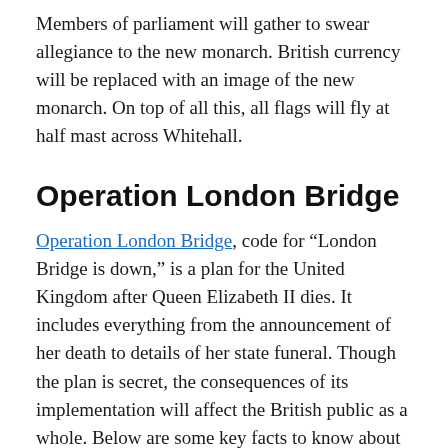Members of parliament will gather to swear allegiance to the new monarch. British currency will be replaced with an image of the new monarch. On top of all this, all flags will fly at half mast across Whitehall.
Operation London Bridge
Operation London Bridge, code for “London Bridge is down,” is a plan for the United Kingdom after Queen Elizabeth II dies. It includes everything from the announcement of her death to details of her state funeral. Though the plan is secret, the consequences of its implementation will affect the British public as a whole. Below are some key facts to know about this plan. Read on for more information.